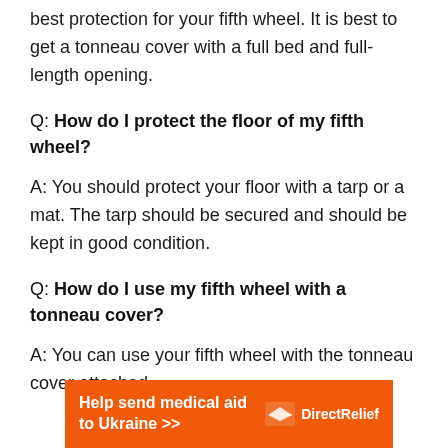best protection for your fifth wheel. It is best to get a tonneau cover with a full bed and full-length opening.
Q: How do I protect the floor of my fifth wheel?
A: You should protect your floor with a tarp or a mat. The tarp should be secured and should be kept in good condition.
Q: How do I use my fifth wheel with a tonneau cover?
A: You can use your fifth wheel with the tonneau cover attached.
[Figure (other): Orange banner advertisement: Help send medical aid to Ukraine >> with DirectRelief logo]